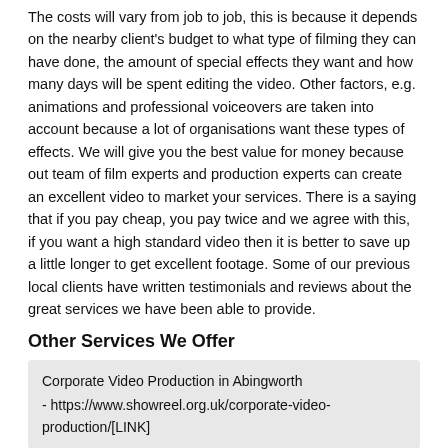The costs will vary from job to job, this is because it depends on the nearby client's budget to what type of filming they can have done, the amount of special effects they want and how many days will be spent editing the video. Other factors, e.g. animations and professional voiceovers are taken into account because a lot of organisations want these types of effects. We will give you the best value for money because out team of film experts and production experts can create an excellent video to market your services. There is a saying that if you pay cheap, you pay twice and we agree with this, if you want a high standard video then it is better to save up a little longer to get excellent footage. Some of our previous local clients have written testimonials and reviews about the great services we have been able to provide.
Other Services We Offer
Corporate Video Production in Abingworth - https://www.showreel.org.uk/corporate-video-production/[LINK]
Corporate Video Production Costs in Abingworth - https://www.showreel.org.uk/corporate-video-production-